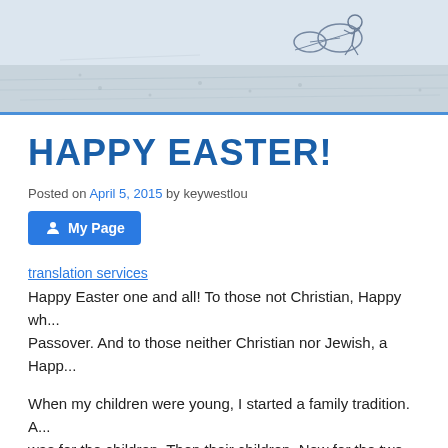[Figure (illustration): Header image showing a sketched/watercolor beach or coastal scene with figures and landscape in blue and grey tones]
HAPPY EASTER!
Posted on April 5, 2015 by keywestlou
My Page
translation services
Happy Easter one and all! To those not Christian, Happy wh... Passover. And to those neither Christian nor Jewish, a Happ...
When my children were young, I started a family tradition. A... was for the children. Then their children. Now for the two yo...
There came a time in between when the children were no lo...